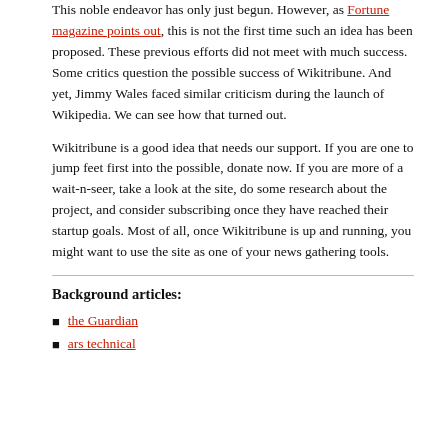This noble endeavor has only just begun. However, as Fortune magazine points out, this is not the first time such an idea has been proposed. These previous efforts did not meet with much success. Some critics question the possible success of Wikitribune. And yet, Jimmy Wales faced similar criticism during the launch of Wikipedia. We can see how that turned out.
Wikitribune is a good idea that needs our support. If you are one to jump feet first into the possible, donate now. If you are more of a wait-n-seer, take a look at the site, do some research about the project, and consider subscribing once they have reached their startup goals. Most of all, once Wikitribune is up and running, you might want to use the site as one of your news gathering tools.
Background articles:
the Guardian
ars technical